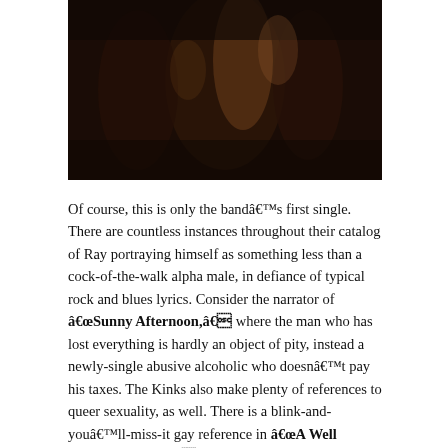[Figure (photo): Dark stage photo showing performers, figures visible in dim warm lighting with brown/orange tones]
Of course, this is only the bandâ€™s first single. There are countless instances throughout their catalog of Ray portraying himself as something less than a cock-of-the-walk alpha male, in defiance of typical rock and blues lyrics. Consider the narrator of â€œSunny Afternoon,â€ where the man who has lost everything is hardly an object of pity, instead a newly-single abusive alcoholic who doesnâ€™t pay his taxes. The Kinks also make plenty of references to queer sexuality, as well. There is a blink-and-youâ€™ll-miss-it gay reference in â€œA Well Respected Man,â€ while the male main character in â€œDedicated Follower of Fashionâ€